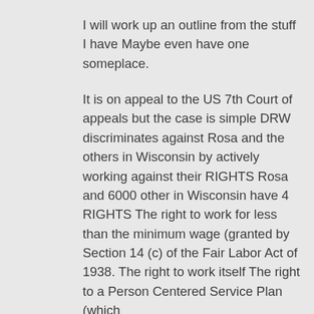I will work up an outline from the stuff I have Maybe even have one someplace.
It is on appeal to the US 7th Court of appeals but the case is simple DRW discriminates against Rosa and the others in Wisconsin by actively working against their RIGHTS Rosa and 6000 other in Wisconsin have 4 RIGHTS The right to work for less than the minimum wage (granted by Section 14 (c) of the Fair Labor Act of 1938. The right to work itself The right to a Person Centered Service Plan (which